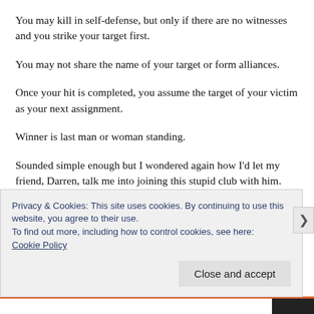You may kill in self-defense, but only if there are no witnesses and you strike your target first.
You may not share the name of your target or form alliances.
Once your hit is completed, you assume the target of your victim as your next assignment.
Winner is last man or woman standing.
Sounded simple enough but I wondered again how I'd let my friend, Darren, talk me into joining this stupid club with him. KAOS, they called it. Killing As An
Privacy & Cookies: This site uses cookies. By continuing to use this website, you agree to their use.
To find out more, including how to control cookies, see here:
Cookie Policy
Close and accept